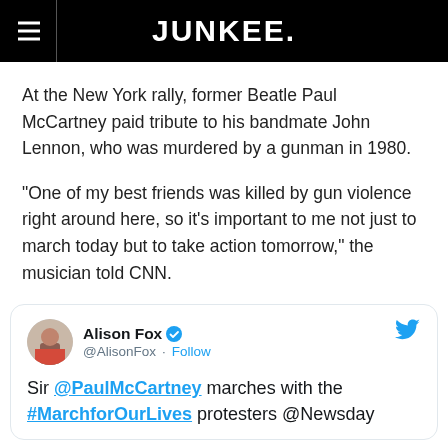JUNKEE.
At the New York rally, former Beatle Paul McCartney paid tribute to his bandmate John Lennon, who was murdered by a gunman in 1980.
“One of my best friends was killed by gun violence right around here, so it’s important to me not just to march today but to take action tomorrow,” the musician told CNN.
[Figure (screenshot): Tweet embed from Alison Fox (@AlisonFox) with verified badge and Follow link. Tweet text: 'Sir @PaulMcCartney marches with the #MarchforOurLives protesters @Newsday']